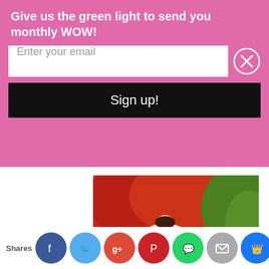Give us the green light to send you monthly WOW!
Enter your email
Sign up!
[Figure (photo): Outdoor fall bridal portrait: a bride in a white gown sits on a stone wall holding a bouquet, with red autumn foliage in the background.]
Outdoor fall bridal portrait on the Woman's Garden lea to the Gol aggi t as tur aga s
Shares